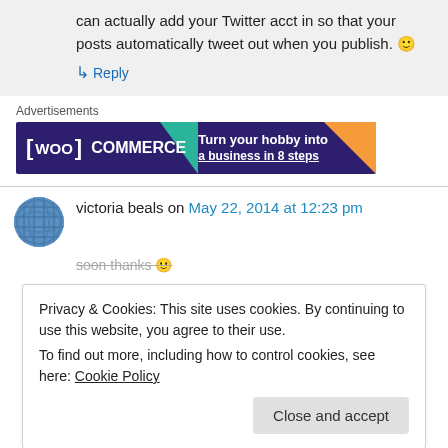can actually add your Twitter acct in so that your posts automatically tweet out when you publish. 🙂
↳ Reply
Advertisements
[Figure (screenshot): WooCommerce advertisement banner: dark purple background with teal and orange triangles, text 'WooCommerce - Turn your hobby into a business in 8 steps']
victoria beals on May 22, 2014 at 12:23 pm
Privacy & Cookies: This site uses cookies. By continuing to use this website, you agree to their use.
To find out more, including how to control cookies, see here: Cookie Policy
Close and accept
soon thanks 🙂